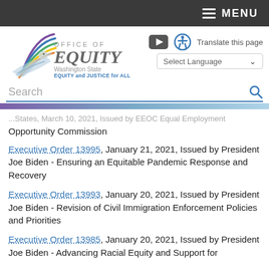MENU
[Figure (logo): Office of Equity Washington State logo with colorful bird and tagline EQUITY and JUSTICE for ALL]
Translate this page / Select Language
Search
...States, March 10, 2021, Issued by EEOC Equal Employment Opportunity Commission
Executive Order 13995, January 21, 2021, Issued by President Joe Biden - Ensuring an Equitable Pandemic Response and Recovery
Executive Order 13993, January 20, 2021, Issued by President Joe Biden - Revision of Civil Immigration Enforcement Policies and Priorities
Executive Order 13985, January 20, 2021, Issued by President Joe Biden - Advancing Racial Equity and Support for